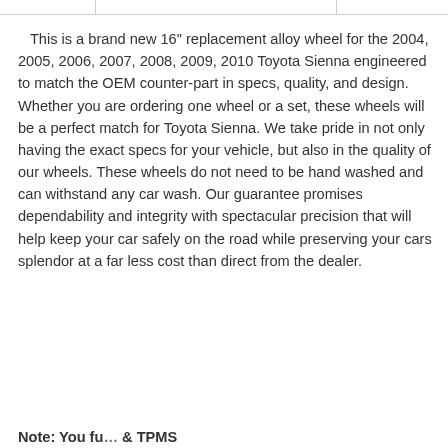This is a brand new 16" replacement alloy wheel for the 2004, 2005, 2006, 2007, 2008, 2009, 2010 Toyota Sienna engineered to match the OEM counter-part in specs, quality, and design. Whether you are ordering one wheel or a set, these wheels will be a perfect match for Toyota Sienna. We take pride in not only having the exact specs for your vehicle, but also in the quality of our wheels. These wheels do not need to be hand washed and can withstand any car wash. Our guarantee promises dependability and integrity with spectacular precision that will help keep your car safely on the road while preserving your cars splendor at a far less cost than direct from the dealer.
Note: ...